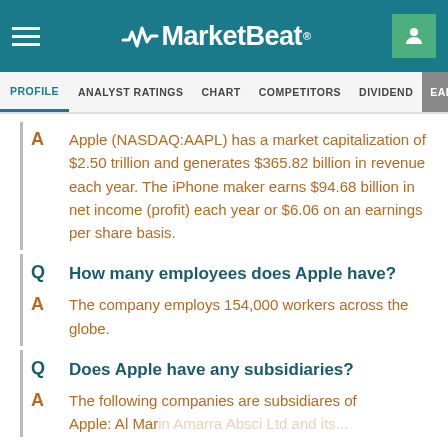MarketBeat
PROFILE  ANALYST RATINGS  CHART  COMPETITORS  DIVIDEND  EARNINGS
Apple (NASDAQ:AAPL) has a market capitalization of $2.50 trillion and generates $365.82 billion in revenue each year. The iPhone maker earns $94.68 billion in net income (profit) each year or $6.06 on an earnings per share basis.
How many employees does Apple have?
The company employs 154,000 workers across the globe.
Does Apple have any subsidiaries?
The following companies are subsidiares of Apple: Al Marin Amarra Absci Ltd and its...